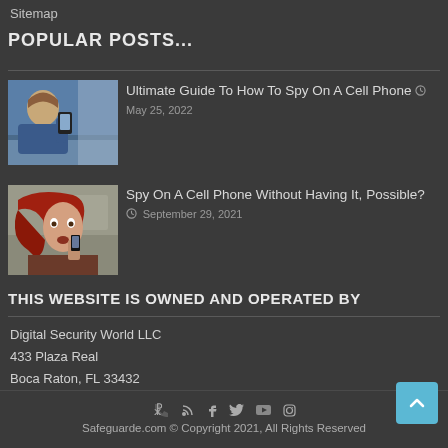Sitemap
POPULAR POSTS...
[Figure (photo): Person looking at a cell phone, blue tones]
Ultimate Guide To How To Spy On A Cell Phone  May 25, 2022
[Figure (photo): Woman with red hair looking at a phone with surprised expression]
Spy On A Cell Phone Without Having It, Possible?  September 29, 2021
THIS WEBSITE IS OWNED AND OPERATED BY
Digital Security World LLC
433 Plaza Real
Boca Raton, FL 33432
Safeguarde.com © Copyright 2021, All Rights Reserved